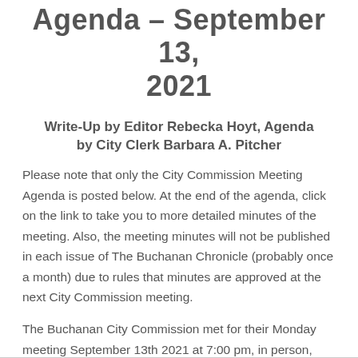Agenda – September 13, 2021
Write-Up by Editor Rebecka Hoyt, Agenda by City Clerk Barbara A. Pitcher
Please note that only the City Commission Meeting Agenda is posted below. At the end of the agenda, click on the link to take you to more detailed minutes of the meeting. Also, the meeting minutes will not be published in each issue of The Buchanan Chronicle (probably once a month) due to rules that minutes are approved at the next City Commission meeting.
The Buchanan City Commission met for their Monday meeting September 13th 2021 at 7:00 pm, in person,